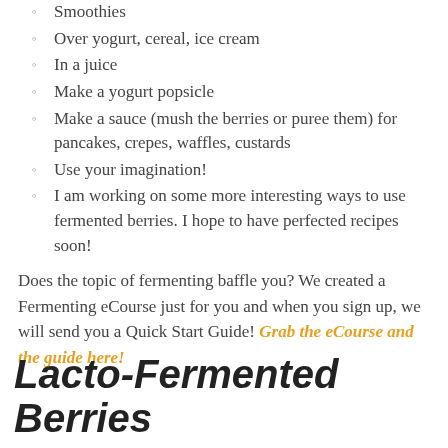Smoothies
Over yogurt, cereal, ice cream
In a juice
Make a yogurt popsicle
Make a sauce (mush the berries or puree them) for pancakes, crepes, waffles, custards
Use your imagination!
I am working on some more interesting ways to use fermented berries.  I hope to have perfected recipes soon!
Does the topic of fermenting baffle you?  We created a Fermenting eCourse just for you and when you sign up, we will send you a Quick Start Guide!  Grab the eCourse and the guide here!
Lacto-Fermented Berries